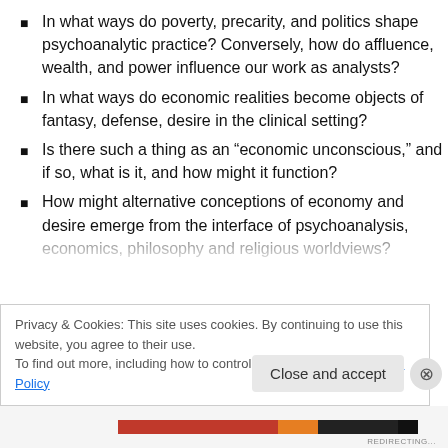In what ways do poverty, precarity, and politics shape psychoanalytic practice? Conversely, how do affluence, wealth, and power influence our work as analysts?
In what ways do economic realities become objects of fantasy, defense, desire in the clinical setting?
Is there such a thing as an “economic unconscious,” and if so, what is it, and how might it function?
How might alternative conceptions of economy and desire emerge from the interface of psychoanalysis, economics, philosophy and religious worldviews?
Privacy & Cookies: This site uses cookies. By continuing to use this website, you agree to their use. To find out more, including how to control cookies, see here: Cookie Policy